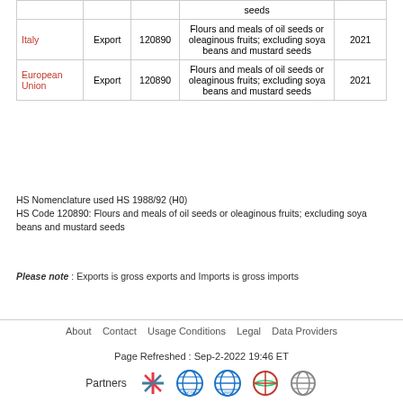| Reporter | Trade Flow | HS Code | Description | Year |
| --- | --- | --- | --- | --- |
|  |  |  | seeds |  |
| Italy | Export | 120890 | Flours and meals of oil seeds or oleaginous fruits; excluding soya beans and mustard seeds | 2021 |
| European Union | Export | 120890 | Flours and meals of oil seeds or oleaginous fruits; excluding soya beans and mustard seeds | 2021 |
HS Nomenclature used HS 1988/92 (H0)
HS Code 120890: Flours and meals of oil seeds or oleaginous fruits; excluding soya beans and mustard seeds
Please note : Exports is gross exports and Imports is gross imports
About   Contact   Usage Conditions   Legal   Data Providers
Page Refreshed : Sep-2-2022 19:46 ET
Partners [logos]